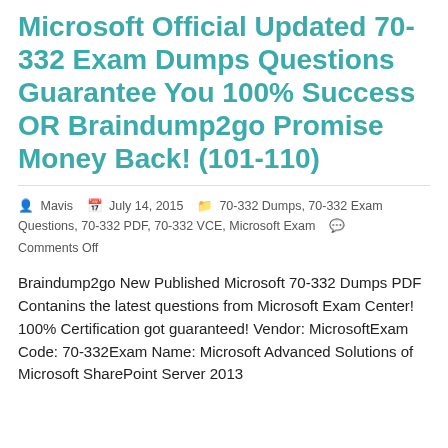Microsoft Official Updated 70-332 Exam Dumps Questions Guarantee You 100% Success OR Braindump2go Promise Money Back! (101-110)
Mavis   July 14, 2015   70-332 Dumps, 70-332 Exam Questions, 70-332 PDF, 70-332 VCE, Microsoft Exam   Comments Off
Braindump2go New Published Microsoft 70-332 Dumps PDF Contanins the latest questions from Microsoft Exam Center! 100% Certification got guaranteed! Vendor: MicrosoftExam Code: 70-332Exam Name: Microsoft Advanced Solutions of Microsoft SharePoint Server 2013